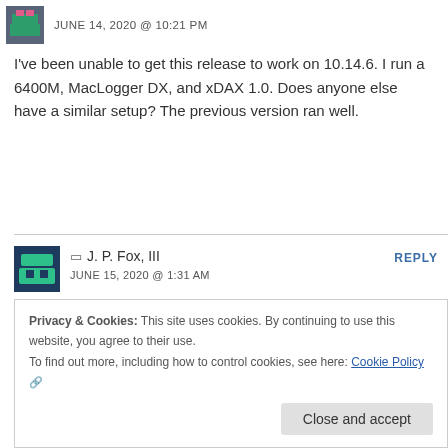JUNE 14, 2020 @ 10:21 PM
I've been unable to get this release to work on 10.14.6. I run a 6400M, MacLogger DX, and xDAX 1.0. Does anyone else have a similar setup? The previous version ran well.
J. P. Fox, III
JUNE 15, 2020 @ 1:31 AM
HamLib error: “ Command rejected by the rig while getting the current VFO frequency”. OS X 10.13.6 and Icom 775.
Privacy & Cookies: This site uses cookies. By continuing to use this website, you agree to their use.
To find out more, including how to control cookies, see here: Cookie Policy